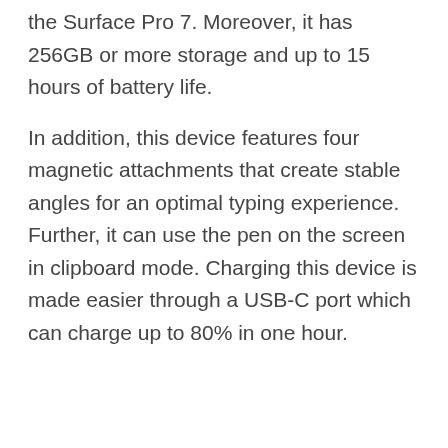the Surface Pro 7. Moreover, it has 256GB or more storage and up to 15 hours of battery life.
In addition, this device features four magnetic attachments that create stable angles for an optimal typing experience. Further, it can use the pen on the screen in clipboard mode. Charging this device is made easier through a USB-C port which can charge up to 80% in one hour.